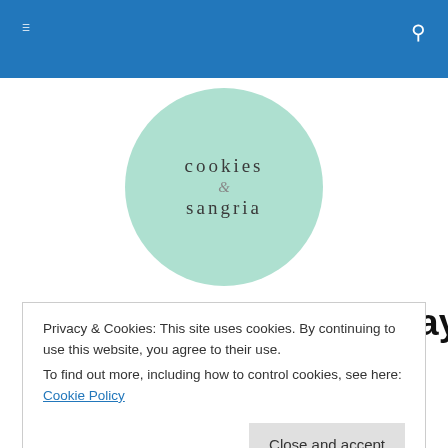Navigation bar with menu and search icons
[Figure (logo): Circular mint-green logo with text 'cookies & sangria' in serif font]
#TransformationTuesday: Ariana Grande
Privacy & Cookies: This site uses cookies. By continuing to use this website, you agree to their use.
To find out more, including how to control cookies, see here: Cookie Policy
Close and accept